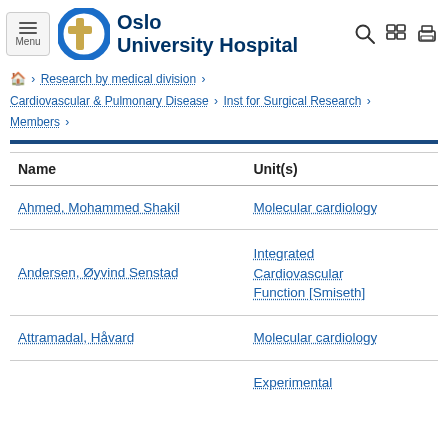[Figure (logo): Oslo University Hospital logo with blue circular icon and text]
Research by medical division > Cardiovascular & Pulmonary Disease > Inst for Surgical Research > Members
| Name | Unit(s) |
| --- | --- |
| Ahmed, Mohammed Shakil | Molecular cardiology |
| Andersen, Øyvind Senstad | Integrated Cardiovascular Function [Smiseth] |
| Attramadal, Håvard | Molecular cardiology |
|  | Experimental |